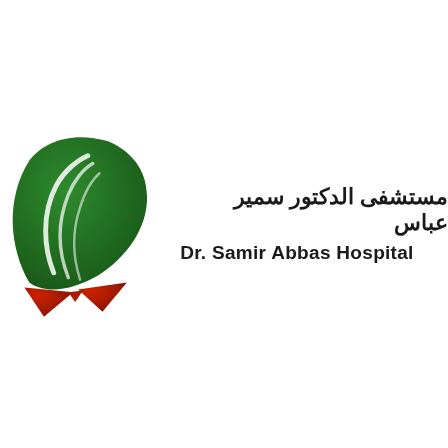[Figure (logo): Dr. Samir Abbas Hospital logo: a stylized leaf/plant design with a large dark green leaf on the left, white curved highlights, and two red triangular shapes at the bottom forming a V or bird shape. Beside the logo are the hospital name in Arabic (مستشفى الدكتور سمير عباس) and English (Dr. Samir Abbas Hospital) in bold dark text.]